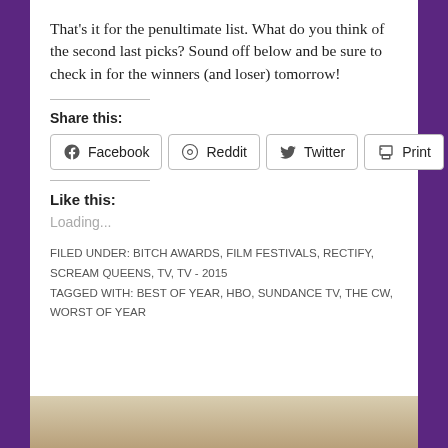That's it for the penultimate list. What do you think of the second last picks? Sound off below and be sure to check in for the winners (and loser) tomorrow!
Share this:
[Figure (other): Social share buttons: Facebook, Reddit, Twitter, Print]
Like this:
Loading...
FILED UNDER: BITCH AWARDS, FILM FESTIVALS, RECTIFY, SCREAM QUEENS, TV, TV - 2015
TAGGED WITH: BEST OF YEAR, HBO, SUNDANCE TV, THE CW, WORST OF YEAR
[Figure (photo): Bottom portion of an image, partially visible]